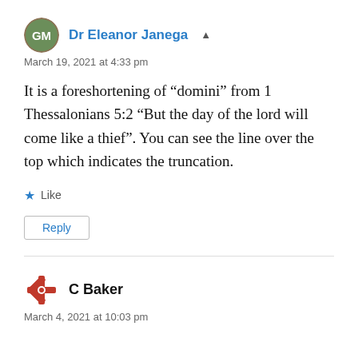Dr Eleanor Janega
March 19, 2021 at 4:33 pm
It is a foreshortening of “domini” from 1 Thessalonians 5:2 “But the day of the lord will come like a thief”. You can see the line over the top which indicates the truncation.
Like
Reply
C Baker
March 4, 2021 at 10:03 pm